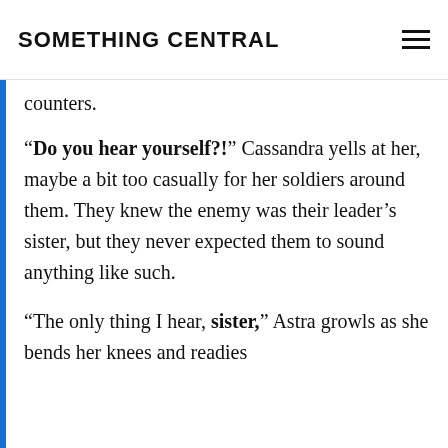SOMETHING CENTRAL
counters.
“Do you hear yourself?!” Cassandra yells at her, maybe a bit too casually for her soldiers around them. They knew the enemy was their leader’s sister, but they never expected them to sound anything like such.
“The only thing I hear, sister,” Astra growls as she bends her knees and readies